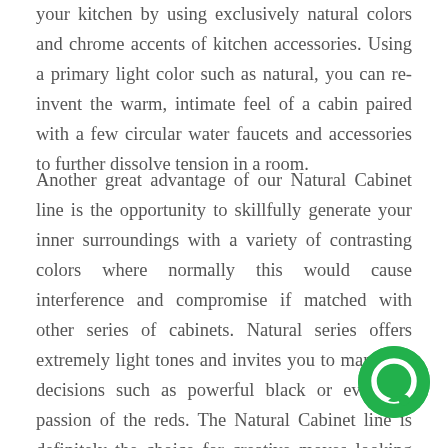your kitchen by using exclusively natural colors and chrome accents of kitchen accessories. Using a primary light color such as natural, you can re-invent the warm, intimate feel of a cabin paired with a few circular water faucets and accessories to further dissolve tension in a room.
Another great advantage of our Natural Cabinet line is the opportunity to skillfully generate your inner surroundings with a variety of contrasting colors where normally this would cause interference and compromise if matched with other series of cabinets. Natural series offers extremely light tones and invites you to many fun decisions such as powerful black or even the passion of the reds. The Natural Cabinet line is definitely the choice for creative moves looking for a rare genre with the power of freedom to invent an unforgettable blueprint as unique as your own fingerprints.
Natural Stained has with an authentic quality...
[Figure (illustration): Green circular chat/message icon in the bottom-right area of the page]